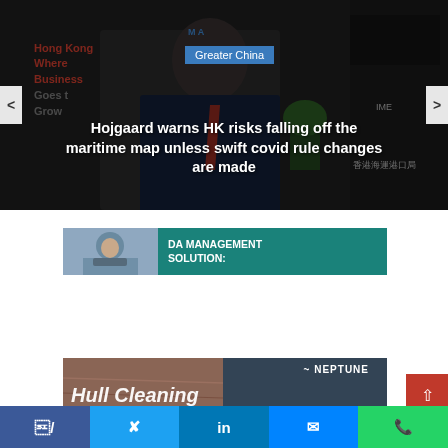[Figure (photo): Slideshow hero image showing a man in a suit and mask at a Hong Kong maritime event with logos visible]
Greater China
Hojgaard warns HK risks falling off the maritime map unless swift covid rule changes are made
[Figure (photo): Advertisement banner for DA Management Solution showing a person reading]
[Figure (photo): Neptune Hull Cleaning advertisement card]